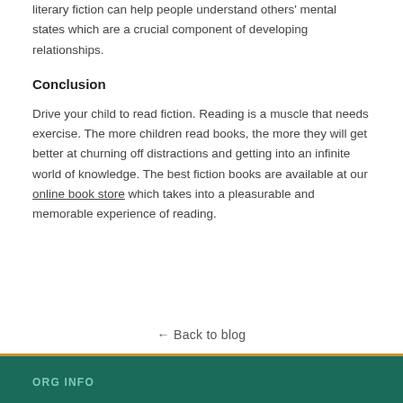literary fiction can help people understand others' mental states which are a crucial component of developing relationships.
Conclusion
Drive your child to read fiction. Reading is a muscle that needs exercise. The more children read books, the more they will get better at churning off distractions and getting into an infinite world of knowledge. The best fiction books are available at our online book store which takes into a pleasurable and memorable experience of reading.
← Back to blog
ORG INFO